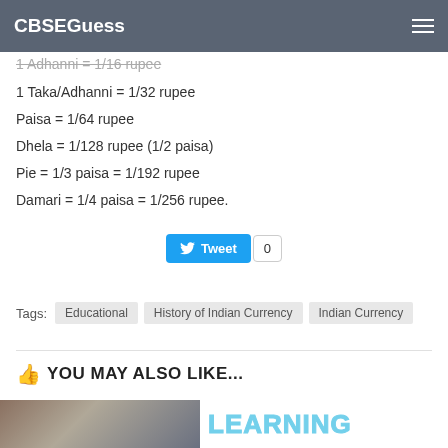CBSEGuess
1 Damanni = 1/8 rupee
1 Adhanni = 1/16 rupee
1 Taka/Adhanni = 1/32 rupee
Paisa = 1/64 rupee
Dhela = 1/128 rupee (1/2 paisa)
Pie = 1/3 paisa = 1/192 rupee
Damari = 1/4 paisa = 1/256 rupee.
[Figure (other): Tweet button with count 0]
Tags: Educational  History of Indian Currency  Indian Currency
YOU MAY ALSO LIKE...
[Figure (photo): Thumbnail image of a person]
LEARNING